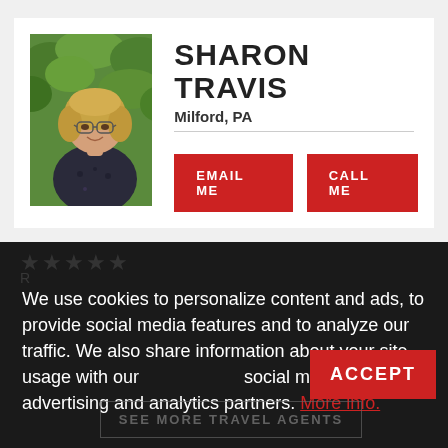[Figure (photo): Profile photo of Sharon Travis, a woman with blonde hair wearing glasses and a dark floral top, standing in front of green foliage.]
SHARON TRAVIS
Milford, PA
EMAIL ME
CALL ME
We use cookies to personalize content and ads, to provide social media features and to analyze our traffic. We also share information about your site usage with our social media, advertising and analytics partners. More info.
ACCEPT
SEE MORE TRAVEL AGENTS